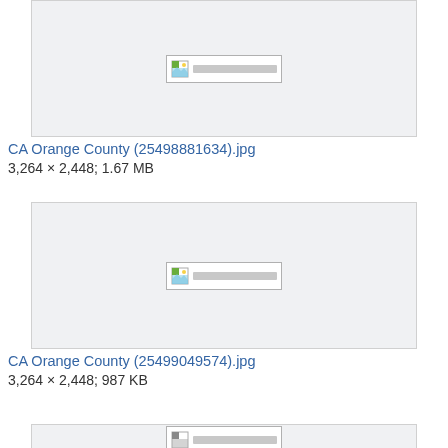[Figure (other): Image placeholder box (broken image thumbnail) for CA Orange County (25498881634).jpg]
CA Orange County (25498881634).jpg
3,264 × 2,448; 1.67 MB
[Figure (other): Image placeholder box (broken image thumbnail) for CA Orange County (25499049574).jpg]
CA Orange County (25499049574).jpg
3,264 × 2,448; 987 KB
[Figure (other): Image placeholder box (broken image thumbnail) — partially visible at bottom of page]